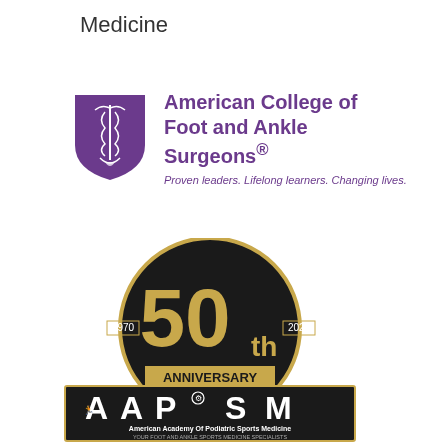Medicine
[Figure (logo): American College of Foot and Ankle Surgeons logo with purple shield bearing caduceus symbol, organization name in purple bold text, and tagline: Proven leaders. Lifelong learners. Changing lives.]
[Figure (logo): American Academy of Podiatric Sports Medicine (AAPSM) 50th Anniversary logo (1970-2020) with large gold '50th ANNIVERSARY' text on black circular background, overlaid on rectangular black AAPSM badge with sport silhouettes and text 'American Academy Of Podiatric Sports Medicine - YOUR FOOT AND ANKLE SPORTS MEDICINE SPECIALISTS']